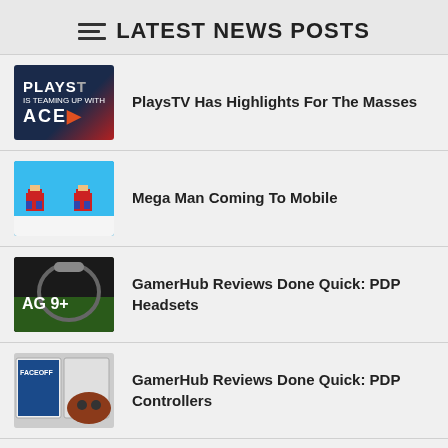LATEST NEWS POSTS
PlaysTV Has Highlights For The Masses
Mega Man Coming To Mobile
GamerHub Reviews Done Quick: PDP Headsets
GamerHub Reviews Done Quick: PDP Controllers
Loot Crate: Magical